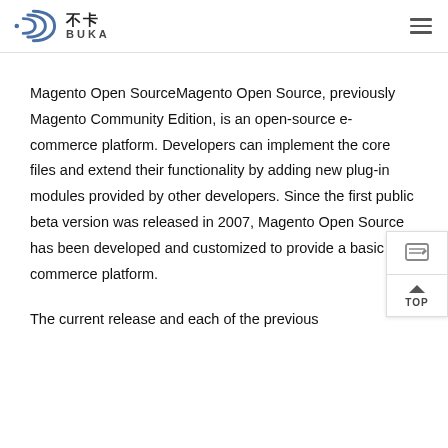不卡 BUKA
Magento Open SourceMagento Open Source, previously Magento Community Edition, is an open-source e-commerce platform. Developers can implement the core files and extend their functionality by adding new plug-in modules provided by other developers. Since the first public beta version was released in 2007, Magento Open Source has been developed and customized to provide a basic e-commerce platform.
The current release and each of the previous